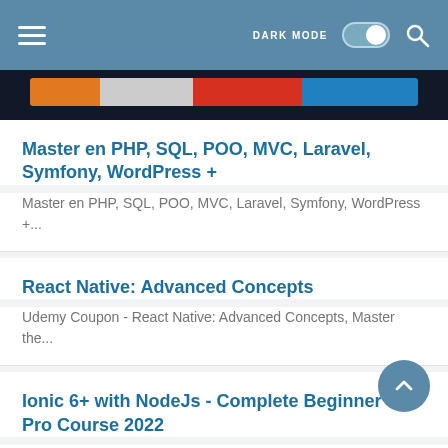DARK MODE [toggle] [search]
[Figure (photo): Colorful horizontal bar image with orange, white, red, and blue segments on dark background]
Master en PHP, SQL, POO, MVC, Laravel, Symfony, WordPress +
Master en PHP, SQL, POO, MVC, Laravel, Symfony, WordPress +...
React Native: Advanced Concepts
Udemy Coupon - React Native: Advanced Concepts, Master the...
Ionic 6+ with NodeJs - Complete Beginner to Pro Course 2022
Ionic 6+ with NodeJs - Complete Beginner to Pro Course 2022...
Performance Optimization and Risk Management for Trading